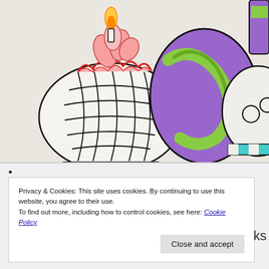[Figure (illustration): A children's coloring page drawing showing decorated egg-shaped or snow-globe-shaped characters with colorful patterns: purple and green swirls, teal striped scarf, red ruffled collar, orange candle flame on top. Partially colored with pencils/markers on light beige paper.]
•
Privacy & Cookies: This site uses cookies. By continuing to use this website, you agree to their use.
To find out more, including how to control cookies, see here: Cookie Policy
Close and accept